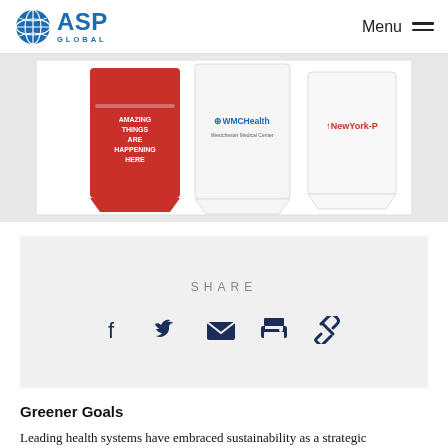ASP GLOBAL — Menu
[Figure (photo): Three branded paper cups: one red with white text reading AMAZING THINGS ARE HAPPENING HERE, one white with WMCHealth logo, one white with NewYork-P logo, on a white background.]
SHARE
[Figure (infographic): Social share icons row: Facebook, Twitter, Email, Print, Link/chain]
Greener Goals
Leading health systems have embraced sustainability as a strategic imperative. The drive to achieve leadership...